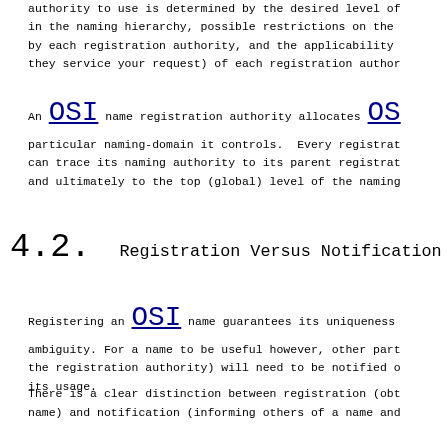authority to use is determined by the desired level of in the naming hierarchy, possible restrictions on the by each registration authority, and the applicability they service your request) of each registration author
An OSI name registration authority allocates OS particular naming-domain it controls.  Every registrat can trace its naming authority to its parent registrat and ultimately to the top (global) level of the naming
4.2.   Registration Versus Notification
Registering an OSI name guarantees its uniqueness ambiguity. For a name to be useful however, other part the registration authority) will need to be notified o its usage.
There is a clear distinction between registration (obt name) and notification (informing others of a name and